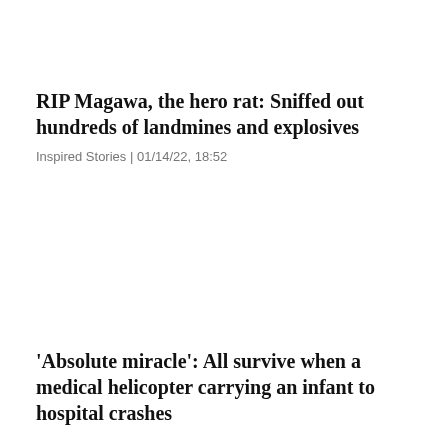RIP Magawa, the hero rat: Sniffed out hundreds of landmines and explosives
Inspired Stories | 01/14/22, 18:52
'Absolute miracle': All survive when a medical helicopter carrying an infant to hospital crashes